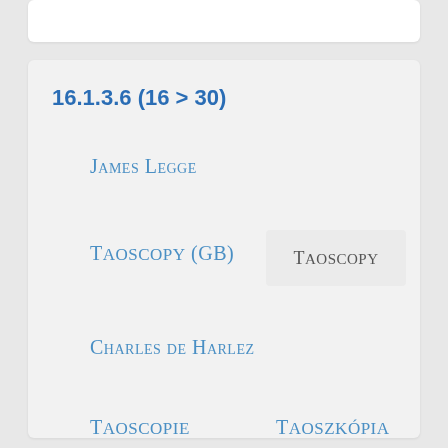16.1.3.6 (16 > 30)
James Legge
Taoscopy (GB)
Taoscopy
Charles de Harlez
Taoscopie
Taoszkópia